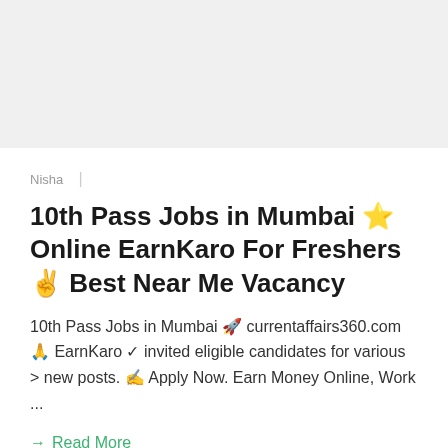Nisha  |
10th Pass Jobs in Mumbai ⭐ Online EarnKaro For Freshers ✌ Best Near Me Vacancy
10th Pass Jobs in Mumbai 🚀 currentaffairs360.com 🙏 EarnKaro ✓ invited eligible candidates for various > new posts. ✍ Apply Now. Earn Money Online, Work ...
→ Read More